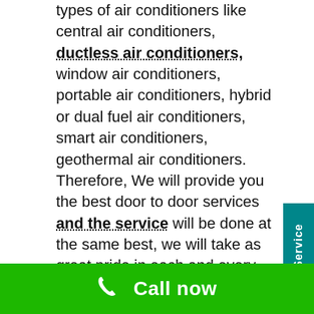types of air conditioners like central air conditioners, ductless air conditioners, window air conditioners, portable air conditioners, hybrid or dual fuel air conditioners, smart air conditioners, geothermal air conditioners. Therefore, We will provide you the best door to door services and the service will be done at the same best, we will take as great pride in each and every service call.
However, Our professional technicians are experts to solve all the major and minor issues of an air conditioner within one interaction. But, Our management will give
[Figure (other): Teal vertical sidebar tab with white rotated text reading 'Book A Service']
[Figure (other): Green call-to-action bar at bottom with phone icon and white text 'Call now']